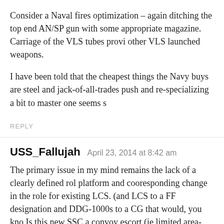Consider a Naval fires optimization – again ditching the top end AN/SP gun with some appropriate magazine. Carriage of the VLS tubes provi other VLS launched weapons.
I have been told that the cheapest things the Navy buys are steel and jack-of-all-trades push and re-specializing a bit to master one seems s
REPLY
USS_Fallujah   April 23, 2014 at 8:42 am
The primary issue in my mind remains the lack of a clearly defined rol platform and cooresponding change in the role for existing LCS. (and LCS to a FF designation and DDG-1000s to a CG that would, you kno Is this new SSC a convoy escort (ie limited area-AAW), blue water AS what are the LCS going to be doing, just MCM and Pirate/Swamboat S they sold congress on in the first place? Exactly what is the Littoral su platform is going to address that threat (if either). The new SSC comm changes to a mission role that isn't clear (and never was) and is alrea buy anyway.